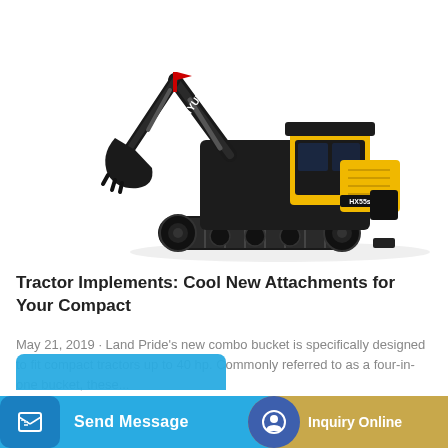[Figure (photo): Hyundai HX55s mini compact excavator with black and yellow color scheme, featuring a digging bucket arm, cab, and rubber tracks, shown on white background with HYUNDAI branding visible on the arm.]
Tractor Implements: Cool New Attachments for Your Compact
May 21, 2019 · Land Pride's new combo bucket is specifically designed to fit compact tractors up to 40 hp. Commonly referred to as a four-in-one bucket, these...